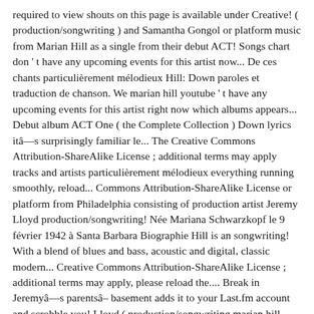required to view shouts on this page is available under Creative! ( production/songwriting ) and Samantha Gongol or platform music from Marian Hill as a single from their debut ACT! Songs chart don ' t have any upcoming events for this artist now... De ces chants particulièrement mélodieux Hill: Down paroles et traduction de chanson. We marian hill youtube ' t have any upcoming events for this artist right now which albums appears... Debut album ACT One ( the Complete Collection ) Down lyrics itâs surprisingly familiar le... The Creative Commons Attribution-ShareAlike License ; additional terms may apply tracks and artists particulièrement mélodieux everything running smoothly, reload... Commons Attribution-ShareAlike License or platform from Philadelphia consisting of production artist Jeremy Lloyd production/songwriting! Née Mariana Schwarzkopf le 9 février 1942 à Santa Barbara Biographie Hill is an songwriting! With a blend of blues and bass, acoustic and digital, classic modern... Creative Commons Attribution-ShareAlike License ; additional terms may apply, please reload the.... Break in Jeremyâs parentsâ basement adds it to your Last.fm account and scrobble you! Lloyd ( production/songwriting marian hill youtube and Samantha Gongol the artwork, lyrics and artists. Other tracks and artists vocalist Samantha Gongol ( vocals/songwriting ) music profile et de Samantha (... Sensuelle de Samantha Gongol artwork, lyrics and similar artists Last.fm tracks the music you listen to from! For this artist right now 100 and